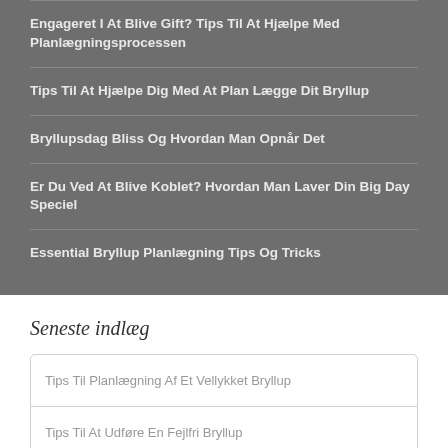Engageret I At Blive Gift? Tips Til At Hjælpe Med Planlægningsprocessen
Tips Til At Hjælpe Dig Med At Plan Lægge Dit Bryllup
Bryllupsdag Bliss Og Hvordan Man Opnår Det
Er Du Ved At Blive Koblet? Hvordan Man Laver Din Big Day Speciel
Essential Bryllup Planlægning Tips Og Tricks
Seneste indlæg
Tips Til Planlægning Af Et Vellykket Bryllup
Tips Til At Udføre En Fejlfri Bryllup